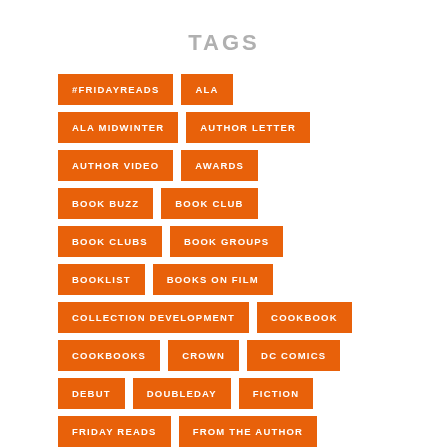TAGS
#FRIDAYREADS
ALA
ALA MIDWINTER
AUTHOR LETTER
AUTHOR VIDEO
AWARDS
BOOK BUZZ
BOOK CLUB
BOOK CLUBS
BOOK GROUPS
BOOKLIST
BOOKS ON FILM
COLLECTION DEVELOPMENT
COOKBOOK
COOKBOOKS
CROWN
DC COMICS
DEBUT
DOUBLEDAY
FICTION
FRIDAY READS
FROM THE AUTHOR